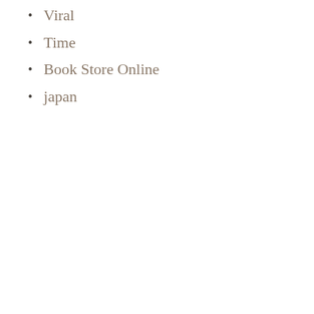Viral
Time
Book Store Online
japan